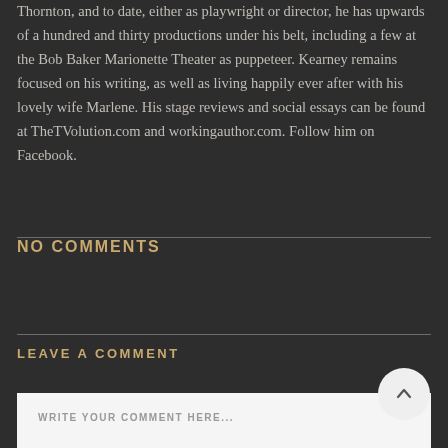Thornton, and to date, either as playwright or director, he has upwards of a hundred and thirty productions under his belt, including a few at the Bob Baker Marionette Theater as puppeteer. Kearney remains focused on his writing, as well as living happily ever after with his lovely wife Marlene. His stage reviews and social essays can be found at TheTVolution.com and workingauthor.com. Follow him on Facebook.
NO COMMENTS
LEAVE A COMMENT
WRITE YOUR COMMENT HERE...